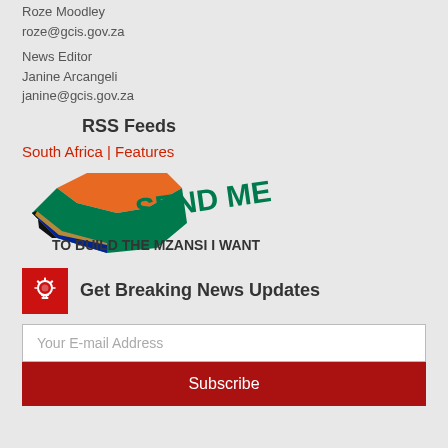Roze Moodley
roze@gcis.gov.za
News Editor
Janine Arcangeli
janine@gcis.gov.za
RSS Feeds
South Africa | Features
[Figure (logo): Send Me to Build the Mzansi I Want logo with South Africa map illustration in orange, green, black and blue colors]
Get Breaking News Updates
Your E-mail Address
Subscribe